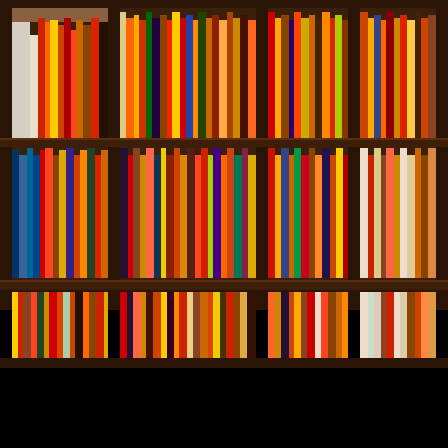[Figure (photo): A photograph of a large wooden bookshelf filled with many colorful books of various sizes and colors arranged in three visible rows. The shelves have dark brown wooden frames with vertical dividers. The bottom portion of the image below the shelves is black. Books span a wide range of colors including red, orange, yellow, green, blue, white, black, and multicolored spines.]